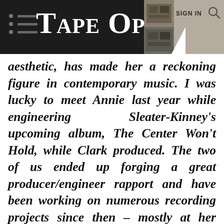TAPE OP
aesthetic, has made her a reckoning figure in contemporary music. I was lucky to meet Annie last year while engineering Sleater-Kinney's upcoming album, The Center Won't Hold, while Clark produced. The two of us ended up forging a great producer/engineer rapport and have been working on numerous recording projects since then – mostly at her home studio in Los Angeles. We've joked about the creative mind-meld we've developed from